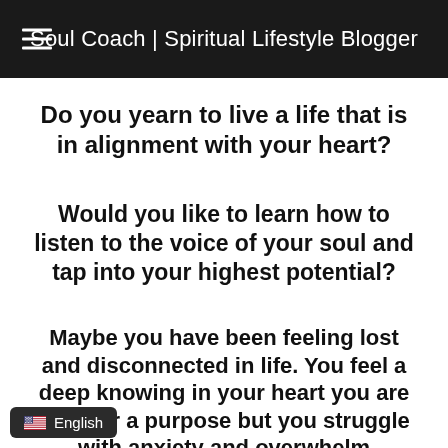Soul Coach | Spiritual Lifestyle Blogger
Do you yearn to live a life that is in alignment with your heart?
Would you like to learn how to listen to the voice of your soul and tap into your highest potential?
Maybe you have been feeling lost and disconnected in life. You feel a deep knowing in your heart you are here for a purpose but you struggle with anxiety and overwhelm